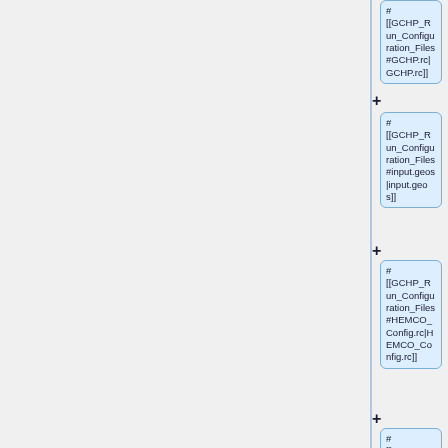[Figure (flowchart): Vertical flowchart showing GCHP run configuration file nodes connected by plus signs. Visible nodes include: GCHP.rc (partially visible at top), input.geos, HEMCO_Config.rc, HEMCO_Diagn.rc, and a fifth node partially visible at bottom. Each node is a rounded rectangle with light blue background containing wiki-style link text.]
# [[GCHP_Run_Configuration_Files#GCHP.rc|GCHP.rc]]
# [[GCHP_Run_Configuration_Files#input.geos|input.geos]]
# [[GCHP_Run_Configuration_Files#HEMCO_Config.rc|HEMCO_Config.rc]]
# [[GCHP_Run_Configuration_Files#HEMCO_Diagn.rc|HEMCO_Diagn.rc]]
#